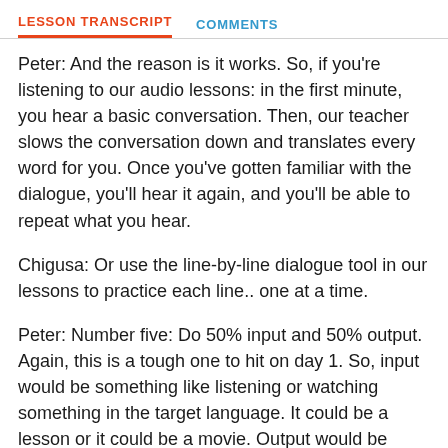LESSON TRANSCRIPT   COMMENTS
Peter: And the reason is it works. So, if you're listening to our audio lessons: in the first minute, you hear a basic conversation. Then, our teacher slows the conversation down and translates every word for you. Once you've gotten familiar with the dialogue, you'll hear it again, and you'll be able to repeat what you hear.
Chigusa: Or use the line-by-line dialogue tool in our lessons to practice each line.. one at a time.
Peter: Number five: Do 50% input and 50% output. Again, this is a tough one to hit on day 1. So, input would be something like listening or watching something in the target language. It could be a lesson or it could be a movie. Output would be something like speaking or writing. To apply this simply, imagine watching a Netflix